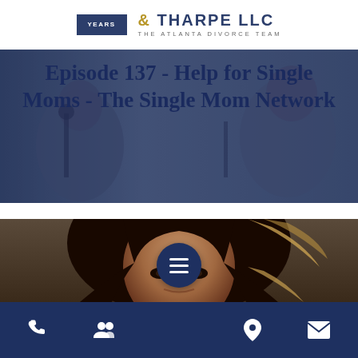YEARS & THARPE LLC – THE ATLANTA DIVORCE TEAM
Episode 137 - Help for Single Moms - The Single Mom Network
[Figure (photo): Podcast recording studio scene with two people at microphones, used as hero banner background]
[Figure (photo): Portrait photo of a woman with dark hair highlighted with blonde streaks, against a dark background]
Navigation bar with phone, people, hamburger menu, location, and email icons